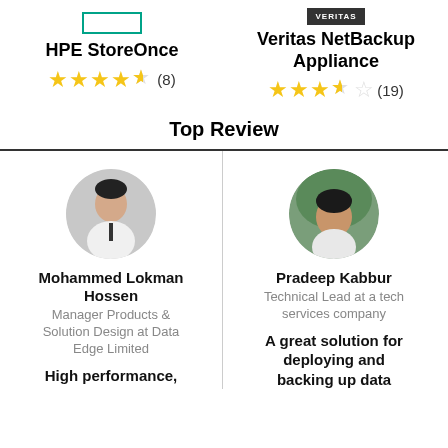[Figure (logo): HPE logo - green rectangle outline]
HPE StoreOnce
★★★★✩(8)
[Figure (logo): Veritas logo - dark background with VERITAS text]
Veritas NetBackup Appliance
★★★✩☆(19)
Top Review
[Figure (photo): Circular profile photo of Mohammed Lokman Hossen - man in white shirt and dark tie]
Mohammed Lokman Hossen
Manager Products & Solution Design at Data Edge Limited
High performance,
[Figure (photo): Circular profile photo of Pradeep Kabbur - man outdoors]
Pradeep Kabbur
Technical Lead at a tech services company
A great solution for deploying and backing up data